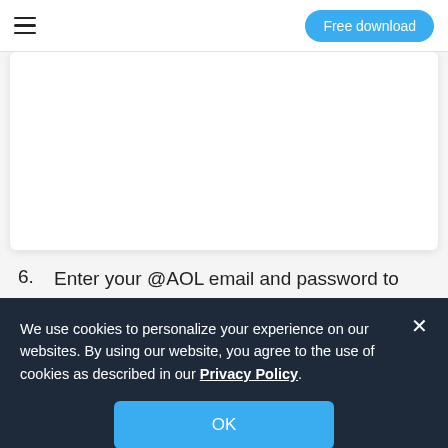Free download
[Figure (screenshot): White card area / image placeholder region]
6. Enter your @AOL email and password to sign into your AOL account.
[Figure (screenshot): Partial bottom strip showing additional screenshot content]
We use cookies to personalize your experience on our websites. By using our website, you agree to the use of cookies as described in our Privacy Policy.
OK